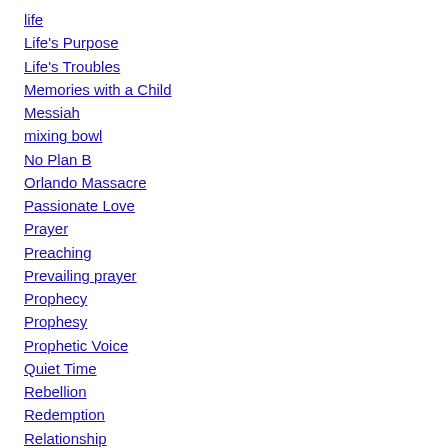life
Life's Purpose
Life's Troubles
Memories with a Child
Messiah
mixing bowl
No Plan B
Orlando Massacre
Passionate Love
Prayer
Preaching
Prevailing prayer
Prophecy
Prophesy
Prophetic Voice
Quiet Time
Rebellion
Redemption
Relationship